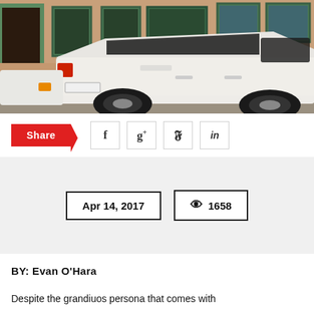[Figure (photo): White Range Rover Sport SUV parked in front of a building with green-trimmed windows and a brick/terracotta facade]
Share  f  g+  y  in
Apr 14, 2017   👁 1658
BY: Evan O'Hara
Despite the grandiose persona that comes with...